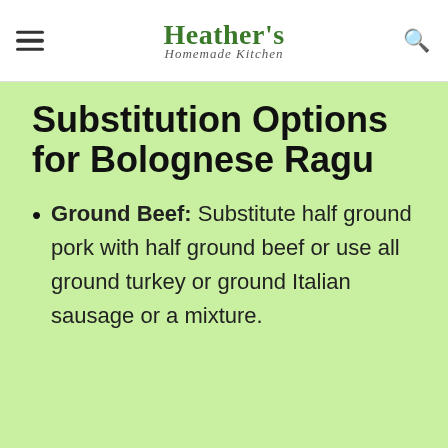Heather's Homemade Kitchen
Substitution Options for Bolognese Ragu
Ground Beef: Substitute half ground pork with half ground beef or use all ground turkey or ground Italian sausage or a mixture.